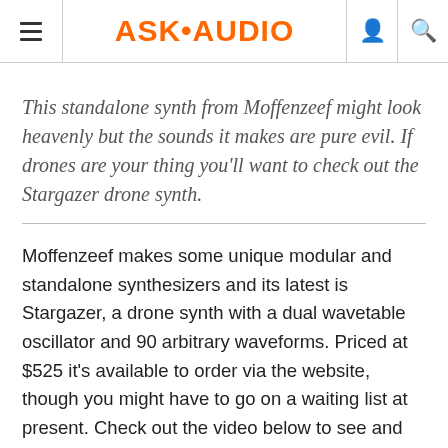ASK•AUDIO
This standalone synth from Moffenzeef might look heavenly but the sounds it makes are pure evil. If drones are your thing you'll want to check out the Stargazer drone synth.
Moffenzeef makes some unique modular and standalone synthesizers and its latest is Stargazer, a drone synth with a dual wavetable oscillator and 90 arbitrary waveforms. Priced at $525 it's available to order via the website, though you might have to go on a waiting list at present. Check out the video below to see and hear what this abrasive beast can do.